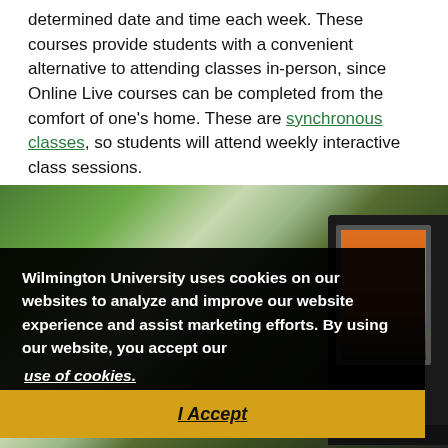determined date and time each week. These courses provide students with a convenient alternative to attending classes in-person, since Online Live courses can be completed from the comfort of one's home. These are synchronous classes, so students will attend weekly interactive class sessions.
[Figure (photo): Photo of a laptop on a desk in an outdoor or bright setting with green background elements, partially obscured by a cookie consent overlay.]
Wilmington University uses cookies on our websites to analyze and improve our website experience and assist marketing efforts. By using our website, you accept our use of cookies.
I Accept